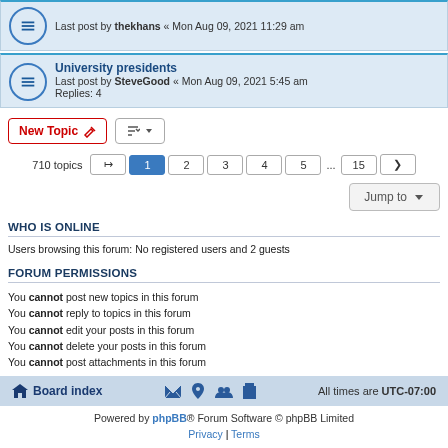Last post by thekhans « Mon Aug 09, 2021 11:29 am
University presidents
Last post by SteveGood « Mon Aug 09, 2021 5:45 am
Replies: 4
New Topic | Sort | 710 topics | 1 2 3 4 5 ... 15 >
Jump to
WHO IS ONLINE
Users browsing this forum: No registered users and 2 guests
FORUM PERMISSIONS
You cannot post new topics in this forum
You cannot reply to topics in this forum
You cannot edit your posts in this forum
You cannot delete your posts in this forum
You cannot post attachments in this forum
Board index | All times are UTC-07:00
Powered by phpBB® Forum Software © phpBB Limited
Privacy | Terms